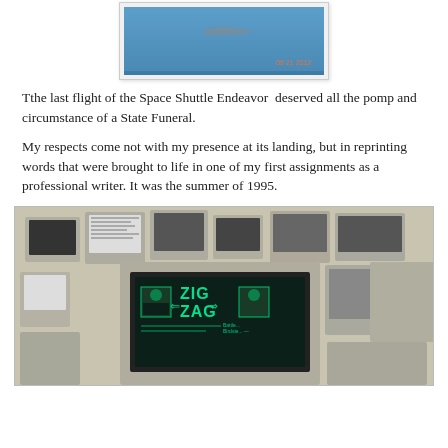[Figure (photo): Partial view of Space Shuttle Endeavor in blue sky, with orange timestamp reading 09 21 2012]
Tthe last flight of the Space Shuttle Endeavor  deserved all the pomp and circumstance of a State Funeral.
My respects come not with my presence at its landing, but in reprinting words that were brought to life in one of my first assignments as a professional writer. It was the summer of 1995.
[Figure (photo): Vintage computer setup with multiple old monitors and computers, main monitor displaying ZIG ZAG logo in green on dark screen]